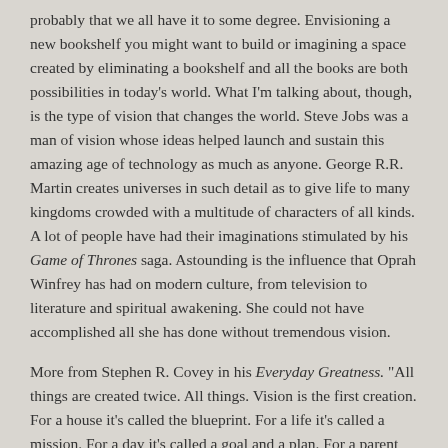probably that we all have it to some degree. Envisioning a new bookshelf you might want to build or imagining a space created by eliminating a bookshelf and all the books are both possibilities in today's world. What I'm talking about, though, is the type of vision that changes the world. Steve Jobs was a man of vision whose ideas helped launch and sustain this amazing age of technology as much as anyone. George R.R. Martin creates universes in such detail as to give life to many kingdoms crowded with a multitude of characters of all kinds. A lot of people have had their imaginations stimulated by his Game of Thrones saga. Astounding is the influence that Oprah Winfrey has had on modern culture, from television to literature and spiritual awakening. She could not have accomplished all she has done without tremendous vision.
More from Stephen R. Covey in his Everyday Greatness. "All things are created twice. All things. Vision is the first creation. For a house it's called the blueprint. For a life it's called a mission. For a day it's called a goal and a plan. For a parent it's called a belief in the unseen potential of a child. For all, it is the mental creation which always precedes the physical, or second, creation.
"Vision not only helps us spot present opportunities where others might not see them, but it also points us toward the future and inspires us to ask...